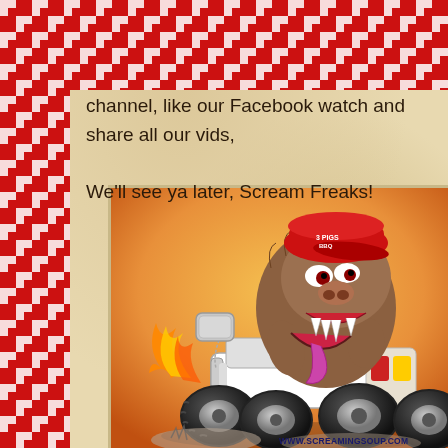channel, like our Facebook watch and share all our vids, We'll see ya later, Scream Freaks!
[Figure (illustration): Cartoon illustration of a monstrous hairy creature wearing a red baseball cap with '3 PIGS BBQ' text, riding an oversized four-wheel quad bike/ATV with big black tires, flames shooting out the side, with a dog tag hanging from the front. Orange background. URL www.ScreamingSoup.com at bottom right.]